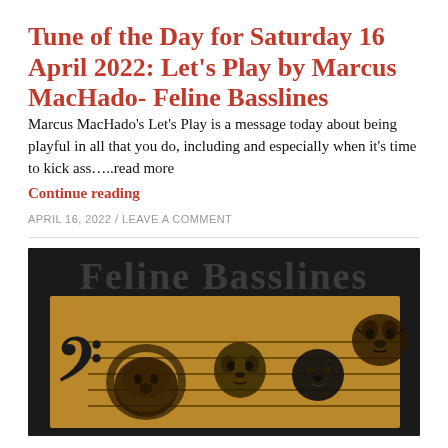Tune of the Day for Saturday 16 April 2022: Let's Play by Marcus MacHado- Feline Basslines
Marcus MacHado's Let's Play is a message today about being playful in all that you do, including and especially when it's time to kick ass…..read more
Continue reading
APRIL 16, 2022 / LEAVE A COMMENT
[Figure (illustration): Feline Basslines album art: dark background with text 'Feline Basslines' watermarked at top, golden/tan rectangular area showing a bass clef symbol on the left followed by four big cat face illustrations (lion, snow leopard/cheetah, black panther, tiger) arranged on horizontal staff lines.]